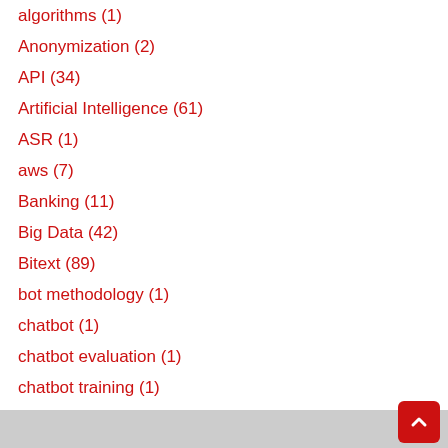algorithms (1)
Anonymization (2)
API (34)
Artificial Intelligence (61)
ASR (1)
aws (7)
Banking (11)
Big Data (42)
Bitext (89)
bot methodology (1)
chatbot (1)
chatbot evaluation (1)
chatbot training (1)
See all